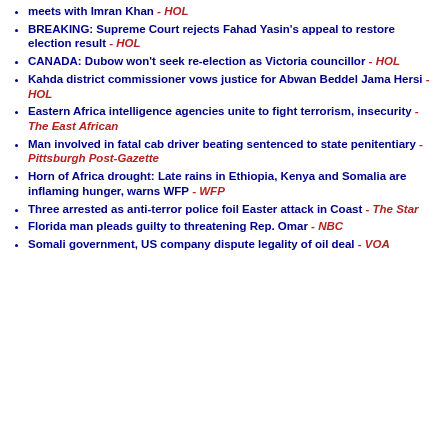meets with Imran Khan - HOL
BREAKING: Supreme Court rejects Fahad Yasin's appeal to restore election result - HOL
CANADA: Dubow won't seek re-election as Victoria councillor - HOL
Kahda district commissioner vows justice for Abwan Beddel Jama Hersi - HOL
Eastern Africa intelligence agencies unite to fight terrorism, insecurity - The East African
Man involved in fatal cab driver beating sentenced to state penitentiary - Pittsburgh Post-Gazette
Horn of Africa drought: Late rains in Ethiopia, Kenya and Somalia are inflaming hunger, warns WFP - WFP
Three arrested as anti-terror police foil Easter attack in Coast - The Star
Florida man pleads guilty to threatening Rep. Omar - NBC
Somali government, US company dispute legality of oil deal - VOA